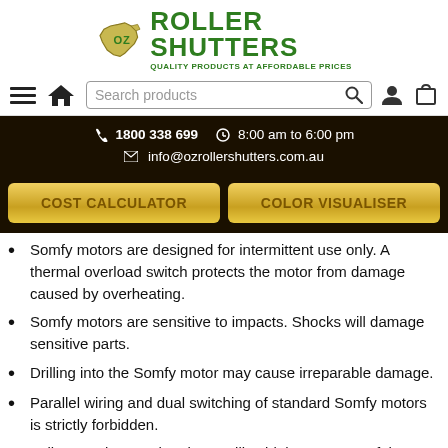[Figure (logo): OZ Roller Shutters logo with Australia map icon and green text, tagline: Quality Products at Affordable Prices]
[Figure (screenshot): Navigation bar with hamburger menu, home icon, search box labeled 'Search products', user icon, and cart icon]
1800 338 699  8:00 am to 6:00 pm  info@ozrollershutters.com.au
[Figure (screenshot): Two gold buttons: COST CALCULATOR and COLOR VISUALISER]
Somfy motors are designed for intermittent use only. A thermal overload switch protects the motor from damage caused by overheating.
Somfy motors are sensitive to impacts. Shocks will damage sensitive parts.
Drilling into the Somfy motor may cause irreparable damage.
Parallel wiring and dual switching of standard Somfy motors is strictly forbidden.
Failure to observe the above will void the warranty of the motor and may pose a significant electrical and/ or mechanical hazard.